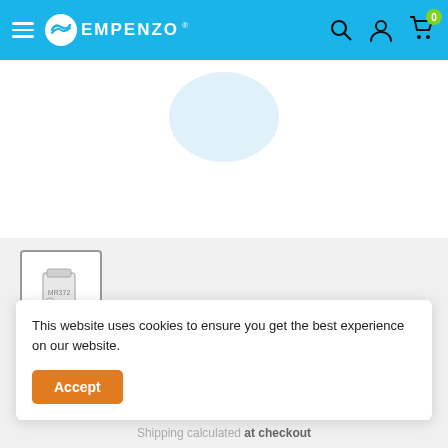Empenzo — navigation header with menu, logo, search, account, and cart icons
[Figure (photo): Main product image area showing a partial blue circle (product container image) on white background]
[Figure (photo): Thumbnail of MR 372 Orange product — a white/grey chemical container]
MR 372 ORANGE
EMPENZO CHEMICAL  |  SKU: MR 372
This website uses cookies to ensure you get the best experience on our website.
Accept
Shipping calculated at checkout